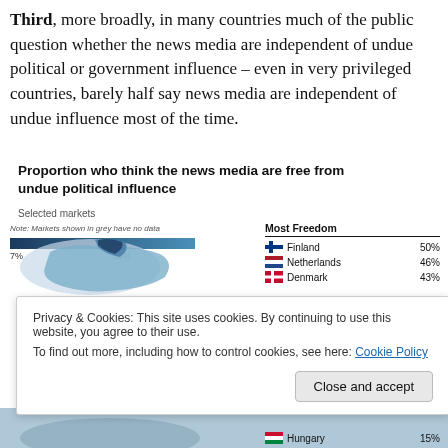Third, more broadly, in many countries much of the public question whether the news media are independent of undue political or government influence – even in very privileged countries, barely half say news media are independent of undue influence most of the time.
Proportion who think the news media are free from undue political influence
Selected markets
[Figure (map): Map of Europe with countries shaded in blue gradient indicating proportion who think news media are free from undue political influence. Scale from 7% to 50%. Note: Markets shown in grey have no data.]
| Most Freedom |  |
| --- | --- |
| Finland | 50% |
| Netherlands | 46% |
| Denmark | 43% |
Privacy & Cookies: This site uses cookies. By continuing to use this website, you agree to their use.
To find out more, including how to control cookies, see here: Cookie Policy
Close and accept